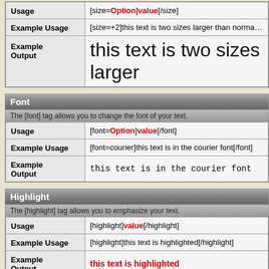|  |  |
| --- | --- |
| Usage | [size=Option]value[/size] |
| Example Usage | [size=+2]this text is two sizes larger than normal |
| Example Output | this text is two sizes larger |
Font
The [font] tag allows you to change the font of your text.
|  |  |
| --- | --- |
| Usage | [font=Option]value[/font] |
| Example Usage | [font=courier]this text is in the courier font[/font] |
| Example Output | this text is in the courier font |
Highlight
The [highlight] tag allows you to emphasize your text.
|  |  |
| --- | --- |
| Usage | [highlight]value[/highlight] |
| Example Usage | [highlight]this text is highlighted[/highlight] |
| Example Output | this text is highlighted |
Left / Right / Center